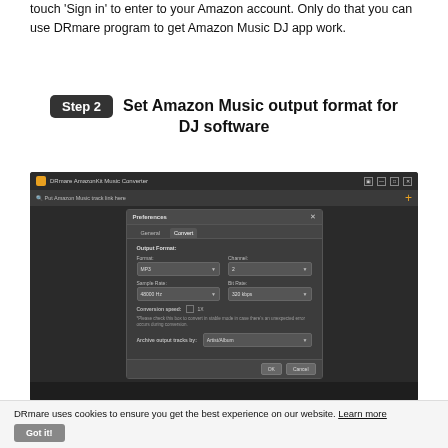touch 'Sign in' to enter to your Amazon account. Only do that you can use DRmare program to get Amazon Music DJ app work.
Step 2  Set Amazon Music output format for DJ software
[Figure (screenshot): Screenshot of DRmare AmazonKit Music Converter application showing the Preferences dialog with Convert tab open. Settings include Output Format: Format=MP3, Channel=2, Sample Rate=48000 Hz, Bit Rate=320 kbps, Conversion speed 1X checkbox, and Archive output tracks by: Artist/Album dropdown. OK and Cancel buttons at bottom.]
DRmare uses cookies to ensure you get the best experience on our website. Learn more   Got it!